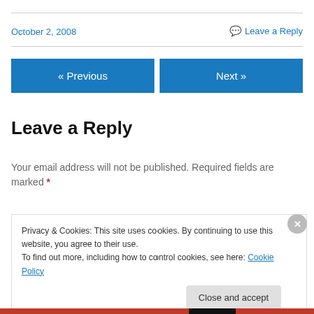October 2, 2008
💬 Leave a Reply
« Previous
Next »
Leave a Reply
Your email address will not be published. Required fields are marked *
Privacy & Cookies: This site uses cookies. By continuing to use this website, you agree to their use. To find out more, including how to control cookies, see here: Cookie Policy
Close and accept